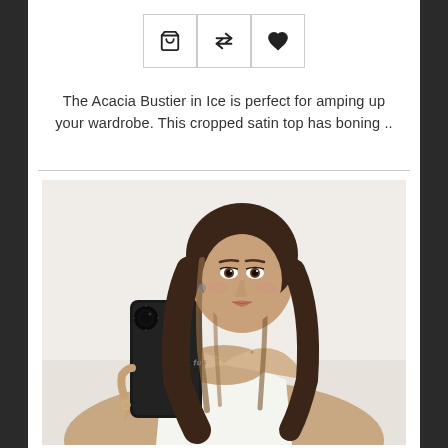[Figure (other): Three icon buttons in bordered boxes: shopping cart icon, compare/arrows icon, and heart/favorite icon]
The Acacia Bustier in Ice is perfect for amping up your wardrobe. This cropped satin top has boning ..
[Figure (photo): A young woman with long wavy brunette hair with highlights, taking a mirror selfie holding a black phone case with white text reading 'winda fus', wearing a white satin bustier top, against a light background.]